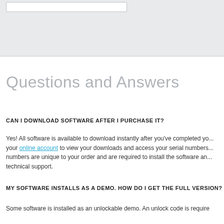[Figure (screenshot): Gray header/search bar area at top of page]
Questions and Answers
CAN I DOWNLOAD SOFTWARE AFTER I PURCHASE IT?
Yes! All software is available to download instantly after you've completed your online account to view your downloads and access your serial numbers. Serial numbers are unique to your order and are required to install the software and technical support.
MY SOFTWARE INSTALLS AS A DEMO. HOW DO I GET THE FULL VERSION?
Some software is installed as an unlockable demo. An unlock code is require